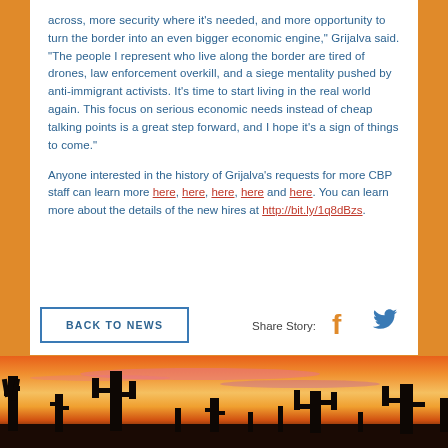across, more security where it's needed, and more opportunity to turn the border into an even bigger economic engine," Grijalva said. "The people I represent who live along the border are tired of drones, law enforcement overkill, and a siege mentality pushed by anti-immigrant activists. It's time to start living in the real world again. This focus on serious economic needs instead of cheap talking points is a great step forward, and I hope it's a sign of things to come."
Anyone interested in the history of Grijalva's requests for more CBP staff can learn more here, here, here, here and here. You can learn more about the details of the new hires at http://bit.ly/1q8dBzs.
BACK TO NEWS
Share Story:
[Figure (photo): Desert sunset landscape with saguaro cactus silhouettes against a colorful orange, pink, and yellow sky]